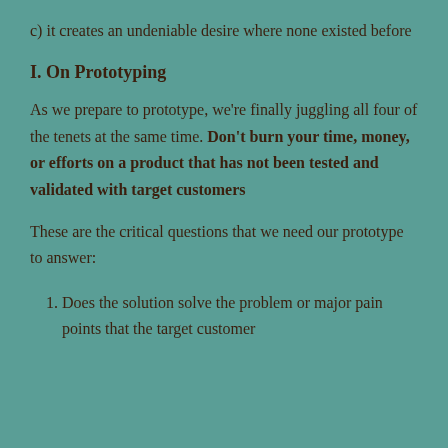c) it creates an undeniable desire where none existed before
I. On Prototyping
As we prepare to prototype, we're finally juggling all four of the tenets at the same time. Don't burn your time, money, or efforts on a product that has not been tested and validated with target customers
These are the critical questions that we need our prototype to answer:
1. Does the solution solve the problem or major pain points that the target customer